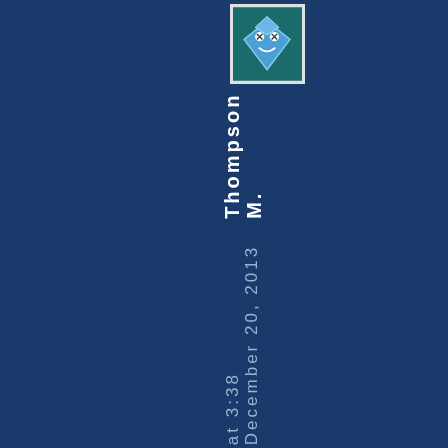[Figure (illustration): Small avatar icon showing a cartoon diamond/gem face with eyes and smile on a dark teal background, framed with a white/grey border]
M. Thompson December 20, 2013 at 3:38